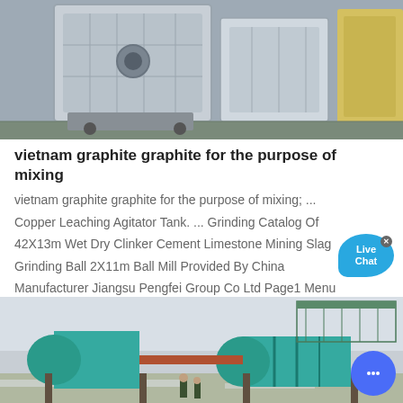[Figure (photo): Industrial machinery — large grey/white metal equipment boxes or crusher frames on a factory floor]
vietnam graphite graphite for the purpose of mixing
vietnam graphite graphite for the purpose of mixing; ... Copper Leaching Agitator Tank. ... Grinding Catalog Of 42X13m Wet Dry Clinker Cement Limestone Mining Slag Grinding Ball 2X11m Ball Mill Provided By China Manufacturer Jiangsu Pengfei Group Co Ltd Page1 Menu Sign In ...
[Figure (photo): Outdoor industrial ball mill equipment — teal/green cylindrical ball mill and associated machinery in a construction or industrial site, workers visible in foreground]